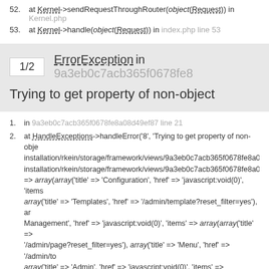52. at Kernel->sendRequestThroughRouter(object(Request)) in Kernel.php
53. at Kernel->handle(object(Request)) in index.php line 53
1/2 ErrorException in 9a3eb0c7acb365f0678fe8...
Trying to get property of non-object
1. in 9a3eb0c7acb365f0678fe8a08d49ef87 line 21
2. at HandleExceptions->handleError('8', 'Trying to get property of non-object', installation/rkein/storage/framework/views/9a3eb0c7acb365f0678fe8a08... installation/rkein/storage/framework/views/9a3eb0c7acb365f0678fe8a08... => array(array('title' => 'Configuration', 'href' => 'javascript:void(0)', 'items... array('title' => 'Templates', 'href' => '/admin/template?reset_filter=yes'), ar... Management', 'href' => 'javascript:void(0)', 'items' => array(array('title' => '/admin/page?reset_filter=yes'), array('title' => 'Menu', 'href' => '/admin/top... array('title' => 'Admin', 'href' => 'javascript:void(0)', 'items' => array(array('/admin/role?reset_filter=yes')))), 'errors' => object(ViewErrorBag), 'curren... 'app' => object(Application), 'topMenu' => array(array('title' => 'Configura...' '/admin/blocktemplate?reset_filter=yes'), array('title' => 'Templates', 'href'... reset_filter=yes'))), array('title' => 'Content Management', 'href' => 'javasc... array('title' => 'Pages', 'href' => '/admin/page?reset_filter=yes'), array('title '/admin/slide?reset_filter=yes'))), array('title' => 'Admin', 'href' => 'javascri... array('title' => 'Roles', 'href' => '/admin/role?reset_filter=yes')))), 'errors' = '_currentItemId' => '1963', '_currentItem' => null)) in 9a3eb0c7acb365f06...